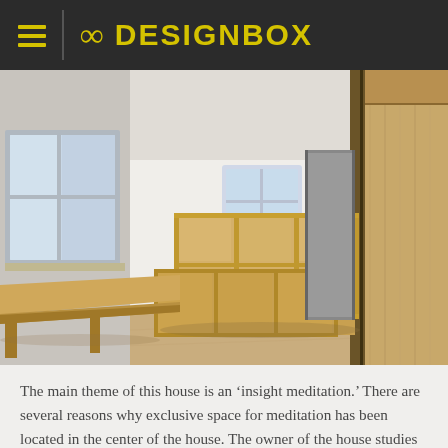88 DESIGNBOX
[Figure (photo): Interior photo of a minimalist Japanese-style room with light wood furniture including a built-in shelf unit with cubby holes in the center, a desk/table surface in the foreground left, large windows with natural light on the left wall, white walls, light wood flooring, and a tall wood panel/door on the right side.]
The main theme of this house is an ‘insight meditation.’ There are several reasons why exclusive space for meditation has been located in the center of the house. The owner of the house studies Buddhism in his spare time and needs a place for a sitting meditation, and also